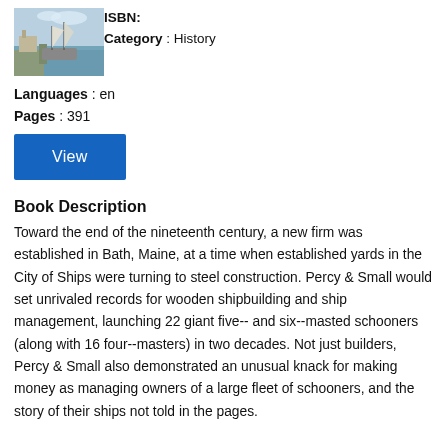[Figure (illustration): Book cover image showing a sailing vessel near a harbor with watercolor-style art]
ISBN:
Category : History
Languages : en
Pages : 391
View
Book Description
Toward the end of the nineteenth century, a new firm was established in Bath, Maine, at a time when established yards in the City of Ships were turning to steel construction. Percy & Small would set unrivaled records for wooden shipbuilding and ship management, launching 22 giant five-- and six--masted schooners (along with 16 four--masters) in two decades. Not just builders, Percy & Small also demonstrated an unusual knack for making money as managing owners of a large fleet of schooners, and the story of their ships not told in the pages.